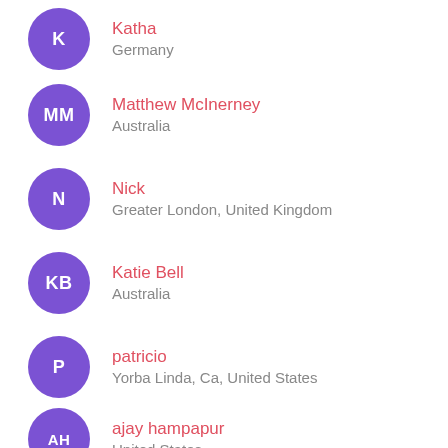K — Katha, Germany
MM — Matthew McInerney, Australia
N — Nick, Greater London, United Kingdom
KB — Katie Bell, Australia
P — patricio, Yorba Linda, Ca, United States
AH — ajay hampapur, United States